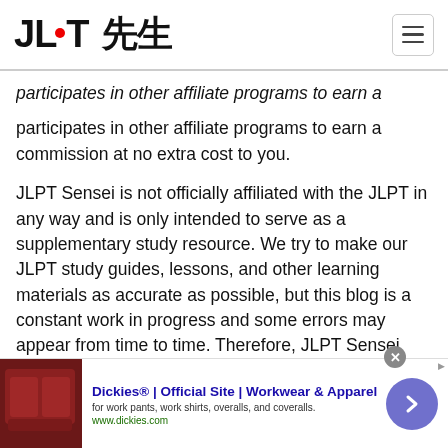JLPT 先生
participates in other affiliate programs to earn a commission at no extra cost to you.
JLPT Sensei is not officially affiliated with the JLPT in any way and is only intended to serve as a supplementary study resource. We try to make our JLPT study guides, lessons, and other learning materials as accurate as possible, but this blog is a constant work in progress and some errors may appear from time to time. Therefore, JLPT Sensei does not assume any responsibilities or liability for any errors or omissions in the content of this site.
[Figure (screenshot): Advertisement banner for Dickies Official Site - Workwear & Apparel, showing a thumbnail image of brown leather work furniture, ad title, description 'for work pants, work shirts, overalls, and coveralls.', URL 'www.dickies.com', close button and navigation arrow.]